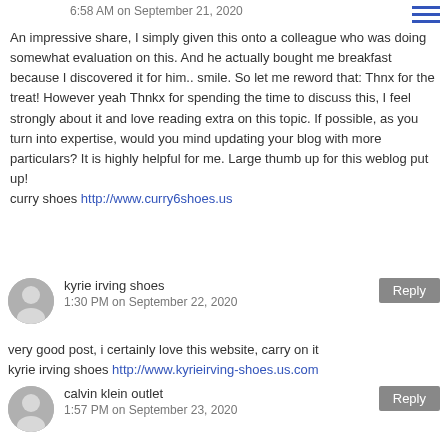6:58 AM on September 21, 2020
An impressive share, I simply given this onto a colleague who was doing somewhat evaluation on this. And he actually bought me breakfast because I discovered it for him.. smile. So let me reword that: Thnx for the treat! However yeah Thnkx for spending the time to discuss this, I feel strongly about it and love reading extra on this topic. If possible, as you turn into expertise, would you mind updating your blog with more particulars? It is highly helpful for me. Large thumb up for this weblog put up!
curry shoes http://www.curry6shoes.us
kyrie irving shoes
1:30 PM on September 22, 2020
very good post, i certainly love this website, carry on it
kyrie irving shoes http://www.kyrieirving-shoes.us.com
calvin klein outlet
1:57 PM on September 23, 2020
Howdy! I simply wish to give an enormous thumbs up for the great information you could have right here on this post. I will be coming back to your weblog for more soon.
calvin klein outlet http://www.calvinkleinoutlet.us.com
kd shoes